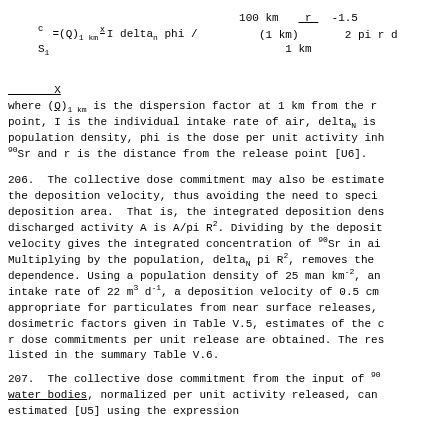where (Q)_1 km is the dispersion factor at 1 km from the release point, I is the individual intake rate of air, delta_N is population density, phi is the dose per unit activity inhaled for 90Sr and r is the distance from the release point [U6].
206.  The collective dose commitment may also be estimated using the deposition velocity, thus avoiding the need to specify the deposition area.  That is, the integrated deposition density for discharged activity A is A/pi R^2. Dividing by the deposition velocity gives the integrated concentration of 90Sr in air. Multiplying by the population, delta_N pi R^2, removes the R^2 dependence. Using a population density of 25 man km^-2, an intake rate of 22 m^3 d^-1, a deposition velocity of 0.5 cm s^-1 appropriate for particulates from near surface releases, and the dosimetric factors given in Table V.5, estimates of the collective r dose commitments per unit release are obtained. The results are listed in the summary Table V.6.
207.  The collective dose commitment from the input of 90Sr to water bodies, normalized per unit activity released, can be estimated [U5] using the expression